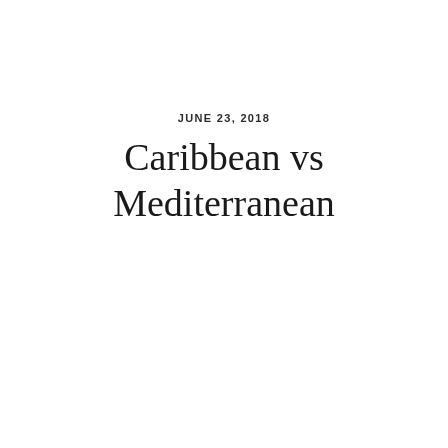JUNE 23, 2018
Caribbean vs Mediterranean